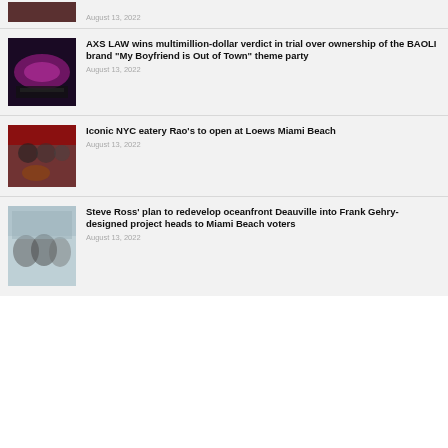August 13, 2022
AXS LAW wins multimillion-dollar verdict in trial over ownership of the BAOLI brand “My Boyfriend is Out of Town” theme party
August 13, 2022
Iconic NYC eatery Rao’s to open at Loews Miami Beach
August 13, 2022
Steve Ross’ plan to redevelop oceanfront Deauville into Frank Gehry-designed project heads to Miami Beach voters
August 13, 2022